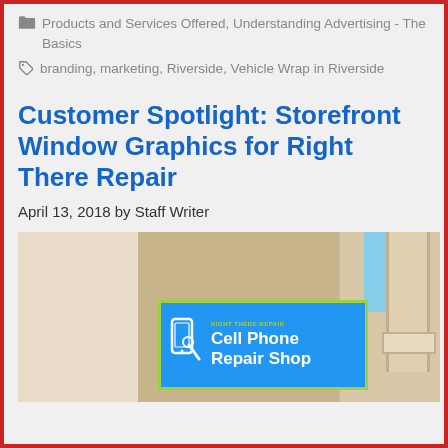Products and Services Offered, Understanding Advertising - The Basics
branding, marketing, Riverside, Vehicle Wrap in Riverside
Customer Spotlight: Storefront Window Graphics for Right There Repair
April 13, 2018 by Staff Writer
[Figure (photo): Storefront exterior of Right There Repair showing a blue storefront window graphic sign with yellow/green border reading 'Right There Repair - Cell Phone Repair Shop' with a phone icon]